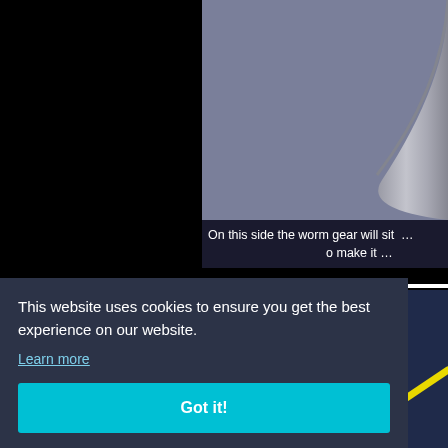[Figure (screenshot): Screenshot of a website showing an engineering diagram (worm gear) with a cookie consent overlay. Top-left is black, top-right is a gray-blue panel with a metallic arc. A caption reads 'On this side the worm gear will sit … to make it …'. A dark cookie banner overlays the lower portion with text and a 'Got it!' button.]
On this side the worm gear will sit  …o make it …
This website uses cookies to ensure you get the best experience on our website.
Learn more
Got it!